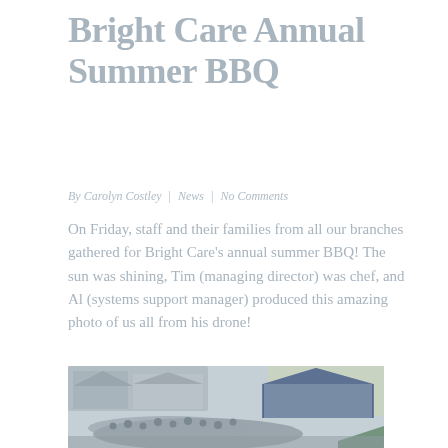Bright Care Annual Summer BBQ
By Carolyn Costley | News | No Comments
On Friday, staff and their families from all our branches gathered for Bright Care's annual summer BBQ! The sun was shining, Tim (managing director) was chef, and Al (systems support manager) produced this amazing photo of us all from his drone!
[Figure (photo): Aerial drone photo of a group of staff and their families gathered outdoors at a courtyard near stone buildings, with a large blue canopy tent visible, green fields in the background.]